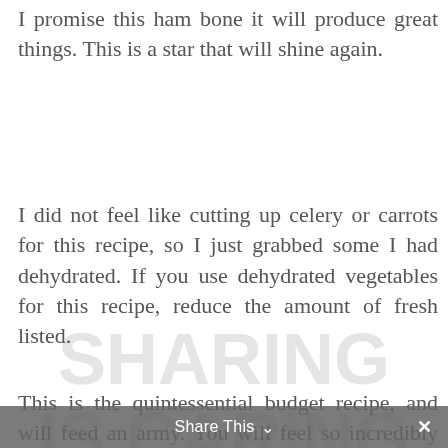I promise this ham bone it will produce great things. This is a star that will shine again.
I did not feel like cutting up celery or carrots for this recipe, so I just grabbed some I had dehydrated. If you use dehydrated vegetables for this recipe, reduce the amount of fresh listed.
This is the quintessential budget recipe, and will feed an army. You will feel so incredibly pleased with yourself when you see the massive amount of food you produced using a humble ham bone and a pound of
Share This ∨  ✕